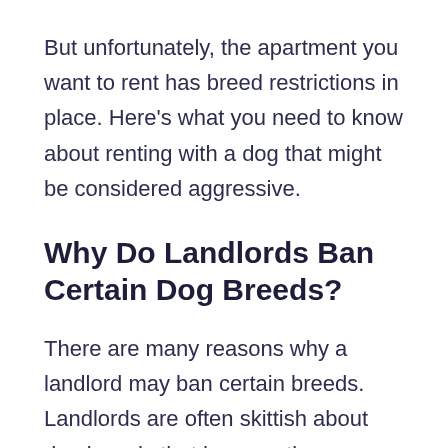But unfortunately, the apartment you want to rent has breed restrictions in place. Here's what you need to know about renting with a dog that might be considered aggressive.
Why Do Landlords Ban Certain Dog Breeds?
There are many reasons why a landlord may ban certain breeds. Landlords are often skittish about dog breeds that have a stigma regarding animal aggression. If